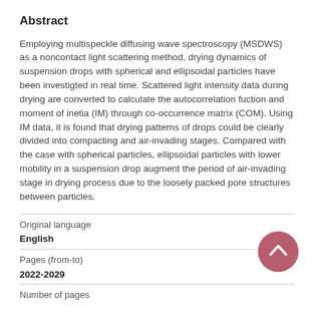Abstract
Employing multispeckle diffusing wave spectroscopy (MSDWS) as a noncontact light scattering method, drying dynamics of suspension drops with spherical and ellipsoidal particles have been investigted in real time. Scattered light intensity data during drying are converted to calculate the autocorrelation fuction and moment of inetia (IM) through co-occurrence matrix (COM). Using IM data, it is found that drying patterns of drops could be clearly divided into compacting and air-invading stages. Compared with the case with spherical particles, ellipsoidal particles with lower mobility in a suspension drop augment the period of air-invading stage in drying process due to the loosely packed pore structures between particles.
| Original language |  |
| English |  |
| Pages (from-to) |  |
| 2022-2029 |  |
| Number of pages |  |